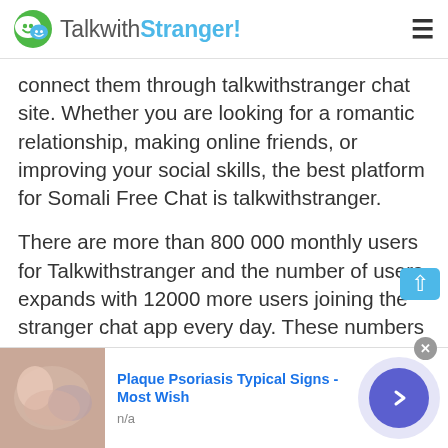TalkwithStranger!
connect them through talkwithstranger chat site. Whether you are looking for a romantic relationship, making online friends, or improving your social skills, the best platform for Somali Free Chat is talkwithstranger.
There are more than 800 000 monthly users for Talkwithstranger and the number of users expands with 12000 more users joining the stranger chat app every day. These numbers are enough to estimate the popularity of the platform. Unlike most ordinary chat sites, Talkwithstranger allows you to chat for free to build real relationships, friendships, and connections with thei…
[Figure (screenshot): Advertisement banner: Plaque Psoriasis Typical Signs - Most Wish, with image thumbnail and navigation arrow button]
Plaque Psoriasis Typical Signs - Most Wish
n/a